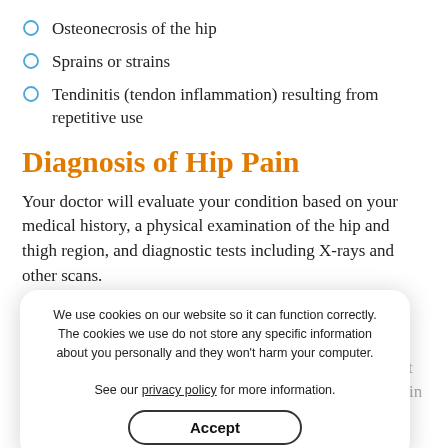Osteonecrosis of the hip
Sprains or strains
Tendinitis (tendon inflammation) resulting from repetitive use
Diagnosis of Hip Pain
Your doctor will evaluate your condition based on your medical history, a physical examination of the hip and thigh region, and diagnostic tests including X-rays and other scans.
Treatments for Hip Pain
Self-care and pain-relieving anti-inflammatory medications offer symptomatic relief. However, the exact cause for the pain needs to be addressed. Practicing certain measures can avoid aggravation of pain and improve the quality of life. Avoiding
We use cookies on our website so it can function correctly. The cookies we use do not store any specific information about you personally and they won't harm your computer.

See our privacy policy for more information.